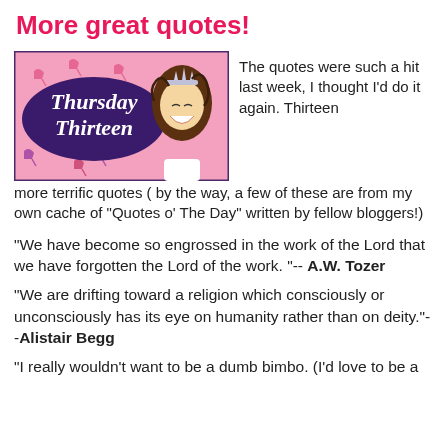More great quotes!
[Figure (illustration): Thursday Thirteen logo image: pink background with high heels and accessories pattern, dark purple cloud shape with 'Thursday Thirteen' text in white, and a cartoon woman wearing a tiara on the right side.]
The quotes were such a hit last week, I thought I'd do it again. Thirteen more terrific quotes ( by the way, a few of these are from my own cache of "Quotes o' The Day" written by fellow bloggers!)
"We have become so engrossed in the work of the Lord that we have forgotten the Lord of the work. "-- A.W. Tozer
"We are drifting toward a religion which consciously or unconsciously has its eye on humanity rather than on deity."--Alistair Begg
"I really wouldn't want to be a dumb bimbo. (I'd love to be a